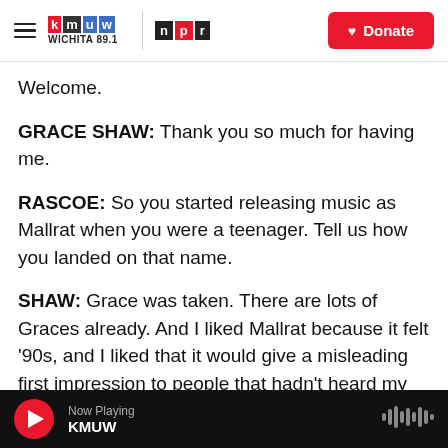KMUW WICHITA 89.1 | NPR | Donate
Welcome.
GRACE SHAW: Thank you so much for having me.
RASCOE: So you started releasing music as Mallrat when you were a teenager. Tell us how you landed on that name.
SHAW: Grace was taken. There are lots of Graces already. And I liked Mallrat because it felt '90s, and I liked that it would give a misleading first impression to people that hadn't heard my music yet. So I think people, before I got popular, assumed that Mallrat
Now Playing KMUW